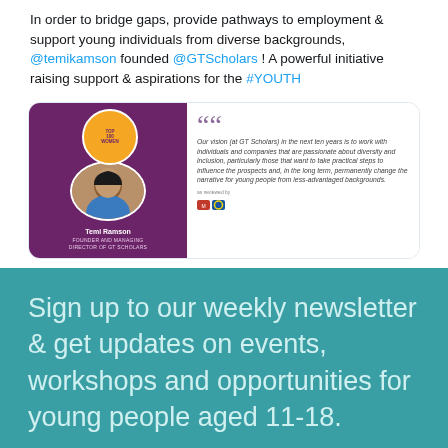In order to bridge gaps, provide pathways to employment & support young individuals from diverse backgrounds, @temikamson founded @GTScholars ! A powerful initiative raising support & aspirations for the #YOUTH
[Figure (screenshot): Tweet card showing Temi Ramson, Founder and Managing Director of GT Scholars, with a quote about GT Scholars' vision for the next ten years regarding diversity and inclusion for young people from less-advantaged backgrounds.]
Sign up to our weekly newsletter & get updates on events, workshops and opportunities for young people aged 11-18.